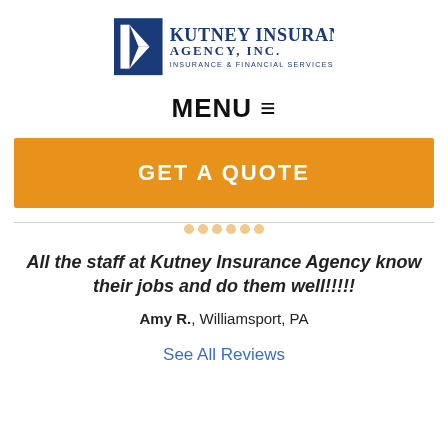[Figure (logo): Kutney Insurance Agency, Inc. — Insurance & Financial Services logo with blue K icon and navy text]
MENU ≡
GET A QUOTE
All the staff at Kutney Insurance Agency know their jobs and do them well!!!!!
Amy R., Williamsport, PA
See All Reviews